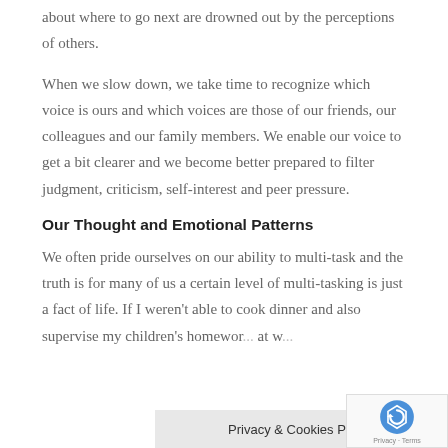about where to go next are drowned out by the perceptions of others.
When we slow down, we take time to recognize which voice is ours and which voices are those of our friends, our colleagues and our family members. We enable our voice to get a bit clearer and we become better prepared to filter judgment, criticism, self-interest and peer pressure.
Our Thought and Emotional Patterns
We often pride ourselves on our ability to multi-task and the truth is for many of us a certain level of multi-tasking is just a fact of life. If I weren't able to cook dinner and also supervise my children's homewor... at w...